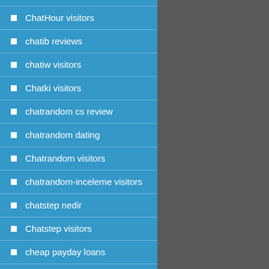ChatHour visitors
chatib reviews
chatiw visitors
Chatki visitors
chatrandom cs review
chatrandom dating
Chatrandom visitors
chatrandom-inceleme visitors
chatstep nedir
Chatstep visitors
cheap payday loans
Cheekylovers review
cheekylovers reviews